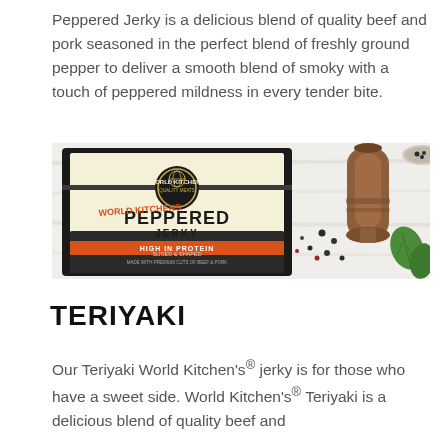Peppered Jerky is a delicious blend of quality beef and pork seasoned in the perfect blend of freshly ground pepper to deliver a smooth blend of smoky with a touch of peppered mildness in every tender bite.
[Figure (photo): World Kitchens Peppered Jerky product package on a white wooden surface with a pepper grinder, peppercorns, and basil leaves. The package label reads: WORLD KITCHENS QUALITY MEATS, PEPPERED JERKY, SLICED & SHAPED, MADE WITH PREMIUM CUTS OF BEEF & PORK, HIGH IN PROTEIN.]
TERIYAKI
Our Teriyaki World Kitchen's® jerky is for those who have a sweet side. World Kitchen's® Teriyaki is a delicious blend of quality beef and